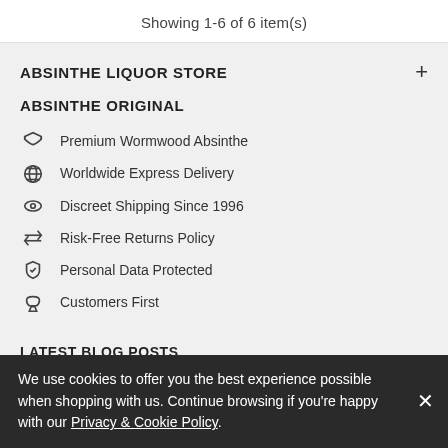Showing 1-6 of 6 item(s)
ABSINTHE LIQUOR STORE
ABSINTHE ORIGINAL
Premium Wormwood Absinthe
Worldwide Express Delivery
Discreet Shipping Since 1996
Risk-Free Returns Policy
Personal Data Protected
Customers First
We use cookies to offer you the best experience possible when shopping with us. Continue browsing if you're happy with our Privacy & Cookie Policy.
LATEST BLOG POSTS